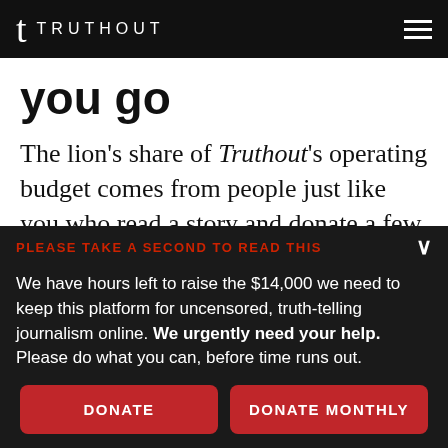t TRUTHOUT
you go
The lion's share of Truthout's operating budget comes from people just like you who read a story and donate a few bucks to help
PLEASE TAKE A SECOND TO READ THIS
We have hours left to raise the $14,000 we need to keep this platform for uncensored, truth-telling journalism online. We urgently need your help. Please do what you can, before time runs out.
DONATE
DONATE MONTHLY